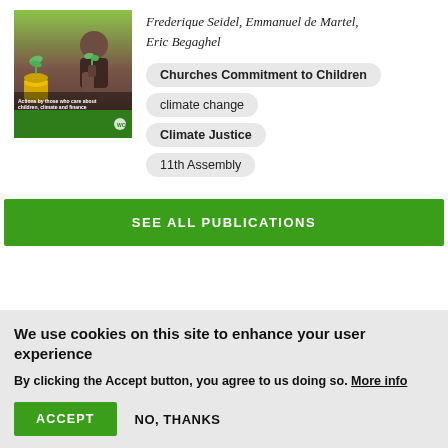[Figure (photo): Book cover showing plants growing from coins and a child holding a seedling, with green design and text about children, climate and finance]
Frederique Seidel, Emmanuel de Martel, Eric Begaghel
Churches Commitment to Children
climate change
Climate Justice
11th Assembly
SEE ALL PUBLICATIONS
We use cookies on this site to enhance your user experience
By clicking the Accept button, you agree to us doing so. More info
ACCEPT
NO, THANKS